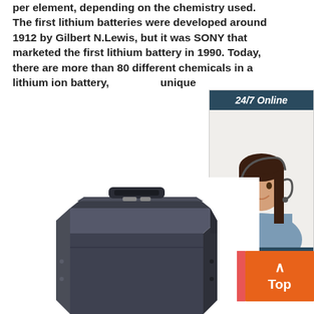per element, depending on the chemistry used. The first lithium batteries were developed around 1912 by Gilbert N.Lewis, but it was SONY that marketed the first lithium battery in 1990. Today, there are more than 80 different chemicals in a lithium ion battery, which have unique
[Figure (photo): Advertisement widget showing a customer service representative wearing a headset, with '24/7 Online' header, 'Click here for free chat!' text, and an orange 'QUOTATION' button, on a dark teal background.]
[Figure (photo): Product photo of a dark gray/black lithium battery box with a handle on top, viewed from a slight angle.]
[Figure (other): Orange 'Top' scroll-to-top button with an upward arrow, partially overlapping the battery photo in the bottom right corner.]